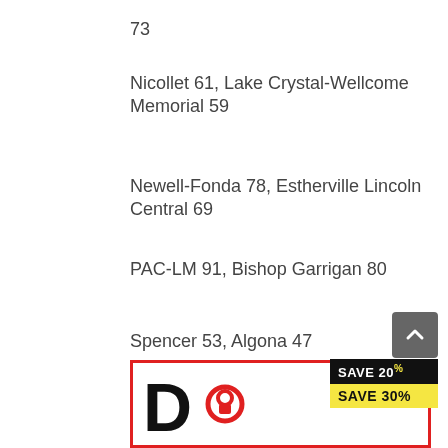73
Nicollet 61, Lake Crystal-Wellcome Memorial 59
Newell-Fonda 78, Estherville Lincoln Central 69
PAC-LM 91, Bishop Garrigan 80
Spencer 53, Algona 47
Find us on Facebook
[Figure (advertisement): Advertisement with a red-bordered box containing a large black logo with a red circle/lock icon, and a black and yellow savings badge showing SAVE 20% and SAVE 30%]